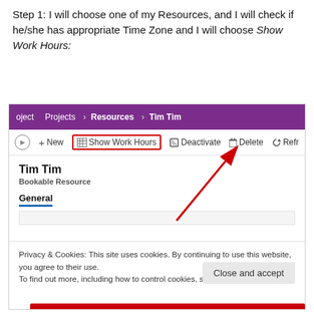Step 1: I will choose one of my Resources, and I will check if he/she has appropriate Time Zone and I will choose Show Work Hours:
[Figure (screenshot): Screenshot of a Microsoft Dynamics 365 Project Operations interface showing a resource record for 'Tim Tim - Bookable Resource' with a purple navigation bar showing breadcrumb 'oject > Projects > Resources > Tim Tim', a toolbar with buttons: New, Show Work Hours (highlighted with red rectangle), Deactivate, Delete, Refresh. The content area shows 'Tim Tim' as the name, 'Bookable Resource' subtitle, and a 'General' tab selected. A red arrow points from the content area up to the 'Show Work Hours' button. A cookie consent banner appears at the bottom with text about cookies and a 'Close and accept' button. A red bar appears at the very bottom.]